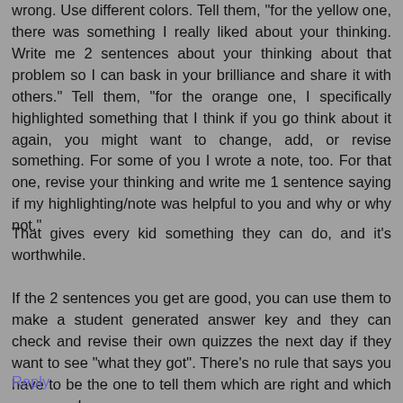wrong. Use different colors. Tell them, "for the yellow one, there was something I really liked about your thinking. Write me 2 sentences about your thinking about that problem so I can bask in your brilliance and share it with others." Tell them, "for the orange one, I specifically highlighted something that I think if you go think about it again, you might want to change, add, or revise something. For some of you I wrote a note, too. For that one, revise your thinking and write me 1 sentence saying if my highlighting/note was helpful to you and why or why not."
That gives every kid something they can do, and it's worthwhile.
If the 2 sentences you get are good, you can use them to make a student generated answer key and they can check and revise their own quizzes the next day if they want to see "what they got". There's no rule that says you have to be the one to tell them which are right and which are wrong!
Reply